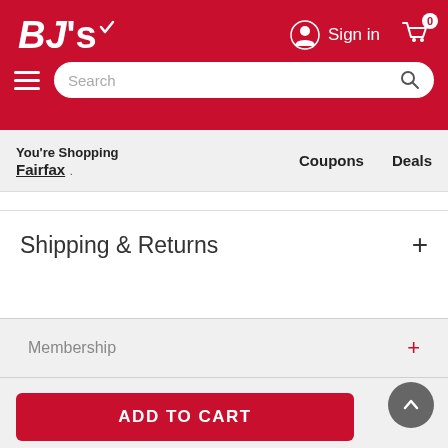BJ's Wholesale Club - Sign in - Shopping cart 0
You're Shopping Fairfax
Coupons  Deals
Shipping & Returns
Membership
Customer Care
ADD TO CART